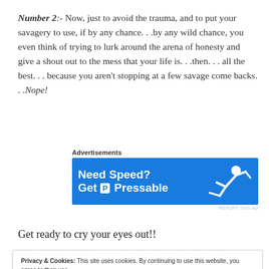Number 2:- Now, just to avoid the trauma, and to put your savagery to use, if by any chance. . .by any wild chance, you even think of trying to lurk around the arena of honesty and give a shout out to the mess that your life is. . .then. . . all the best. . . because you aren't stopping at a few savage come backs. . .Nope!
[Figure (other): Pressable web hosting advertisement banner with blue background showing 'Need Speed? Get P Pressable' text and a figure of a person diving/running]
Get ready to cry your eyes out!!
Privacy & Cookies: This site uses cookies. By continuing to use this website, you agree to their use. To find out more, including how to control cookies, see here: Cookie Policy